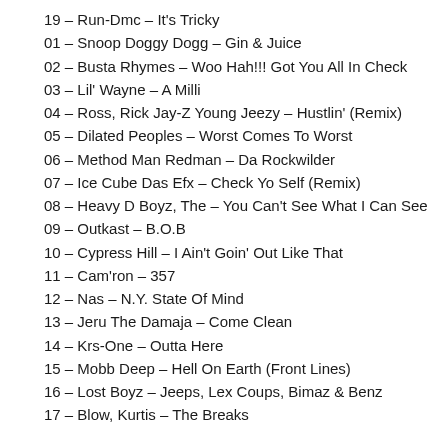19 – Run-Dmc – It's Tricky
01 – Snoop Doggy Dogg – Gin & Juice
02 – Busta Rhymes – Woo Hah!!! Got You All In Check
03 – Lil' Wayne – A Milli
04 – Ross, Rick Jay-Z Young Jeezy – Hustlin' (Remix)
05 – Dilated Peoples – Worst Comes To Worst
06 – Method Man Redman – Da Rockwilder
07 – Ice Cube Das Efx – Check Yo Self (Remix)
08 – Heavy D Boyz, The – You Can't See What I Can See
09 – Outkast – B.O.B
10 – Cypress Hill – I Ain't Goin' Out Like That
11 – Cam'ron – 357
12 – Nas – N.Y. State Of Mind
13 – Jeru The Damaja – Come Clean
14 – Krs-One – Outta Here
15 – Mobb Deep – Hell On Earth (Front Lines)
16 – Lost Boyz – Jeeps, Lex Coups, Bimaz & Benz
17 – Blow, Kurtis – The Breaks